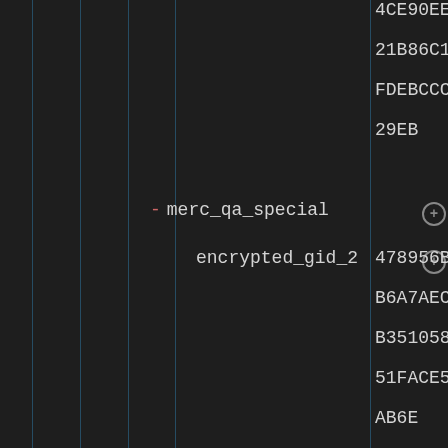4CE90EE
21B86C1
FDEBCCC
29EB
- merc_qa_special
encrypted_gid_2
478956B
B6A7AEC
B351058
51FACE5
AB6E
encrypted_size_2
11CACE5
4B3FF89
B3AE14B
278ED35
BDB8
- original
encrypted_gid_2
7B86348
CD4B233